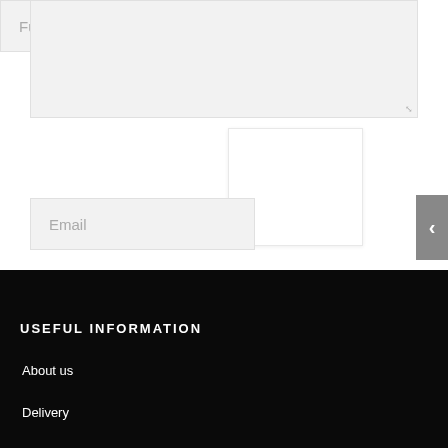[Figure (screenshot): A textarea input field with light gray background and a resize handle in the bottom-right corner]
Full Name
[Figure (screenshot): A white captcha/verification box overlapping the form fields]
Email
[Figure (screenshot): Gray navigation arrow button pointing left on the right edge]
USEFUL INFORMATION
About us
Delivery